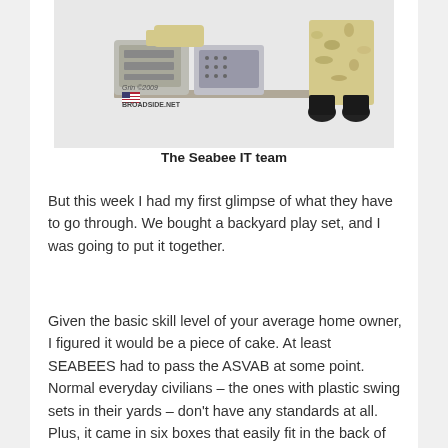[Figure (illustration): Cartoon illustration of the Seabee IT team: a figure working at a desk with equipment, a phone/keypad, camouflage pants, and black boots visible.]
The Seabee IT team
But this week I had my first glimpse of what they have to go through. We bought a backyard play set, and I was going to put it together.
Given the basic skill level of your average home owner, I figured it would be a piece of cake. At least SEABEES had to pass the ASVAB at some point. Normal everyday civilians – the ones with plastic swing sets in their yards – don't have any standards at all. Plus, it came in six boxes that easily fit in the back of my SUV. I would be done before my daughter woke up from her nap.
Then I opened the boxes.